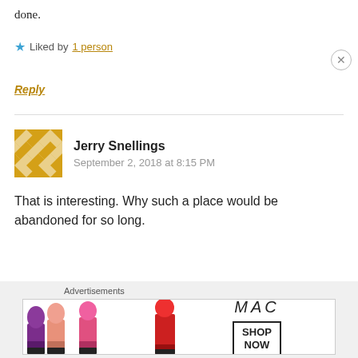done.
Liked by 1 person
Reply
Jerry Snellings
September 2, 2018 at 8:15 PM
That is interesting. Why such a place would be abandoned for so long.
Advertisements